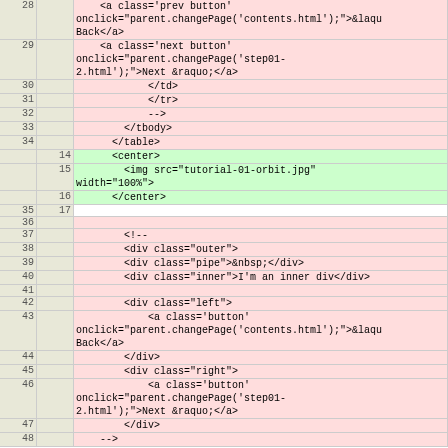| ln1 | ln2 | code |
| --- | --- | --- |
| 28 |  |     <a class='prev button'
onclick="parent.changePage('contents.html');">&laqu
Back</a> |
| 29 |  |     <a class='next button'
onclick="parent.changePage('step01-
2.html');">Next &raquo;</a> |
| 30 |  |         </td> |
| 31 |  |         </tr> |
| 32 |  |         --> |
| 33 |  |     </tbody> |
| 34 |  |   </table> |
|  | 14 |   <center> |
|  | 15 |     <img src="tutorial-01-orbit.jpg"
width="100%"> |
|  | 16 |   </center> |
| 35 | 17 |  |
| 36 |  |  |
| 37 |  |     <!-- |
| 38 |  |     <div class="outer"> |
| 39 |  |     <div class="pipe">&nbsp;</div> |
| 40 |  |     <div class="inner">I'm an inner div</div> |
| 41 |  |  |
| 42 |  |     <div class="left"> |
| 43 |  |         <a class='button'
onclick="parent.changePage('contents.html');">&laqu
Back</a> |
| 44 |  |         </div> |
| 45 |  |         <div class="right"> |
| 46 |  |         <a class='button'
onclick="parent.changePage('step01-
2.html');">Next &raquo;</a> |
| 47 |  |         </div> |
| 48 |  |     --> |